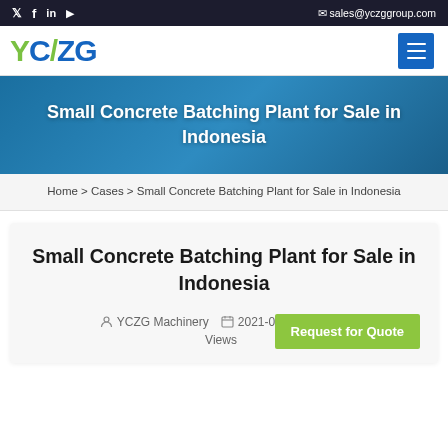Twitter  Facebook  LinkedIn  YouTube  |  sales@yczggroup.com
[Figure (logo): YCZG company logo with green Y and blue CZG text]
Small Concrete Batching Plant for Sale in Indonesia
Home > Cases > Small Concrete Batching Plant for Sale in Indonesia
Small Concrete Batching Plant for Sale in Indonesia
YCZG Machinery  2021-08-18  127 Views
Request for Quote